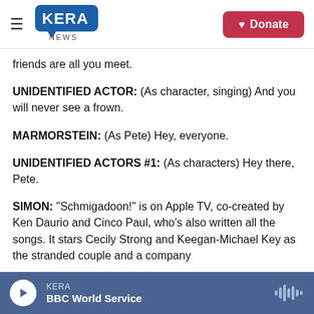KERA NEWS | Donate
friends are all you meet.
UNIDENTIFIED ACTOR: (As character, singing) And you will never see a frown.
MARMORSTEIN: (As Pete) Hey, everyone.
UNIDENTIFIED ACTORS #1: (As characters) Hey there, Pete.
SIMON: "Schmigadoon!" is on Apple TV, co-created by Ken Daurio and Cinco Paul, who's also written all the songs. It stars Cecily Strong and Keegan-Michael Key as the stranded couple and a company
KERA | BBC World Service